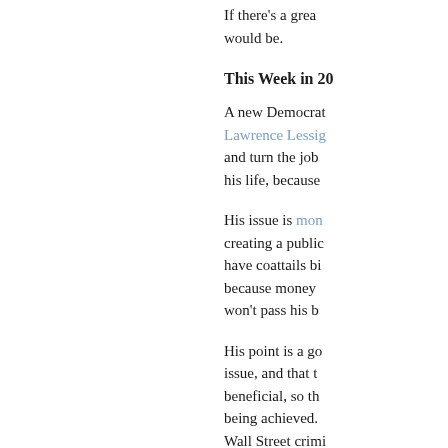If there's a grea would be.
This Week in 20
A new Democrat Lawrence Lessig and turn the job his life, because
His issue is mon creating a public have coattails bi because money won't pass his b
His point is a go issue, and that t beneficial, so th being achieved. Wall Street crimi long as the rich b so Lessig's appr
He does not, of